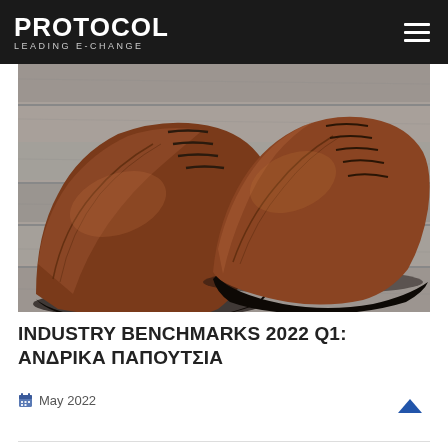PROTOCOL LEADING e-CHANGE
[Figure (photo): Close-up photo of two brown leather Oxford dress shoes on a wooden floor, black and white tones with brown shoe color]
INDUSTRY BENCHMARKS 2022 Q1: ΑΝΔΡΙΚΑ ΠΑΠΟΥΤΣΙΑ
May 2022